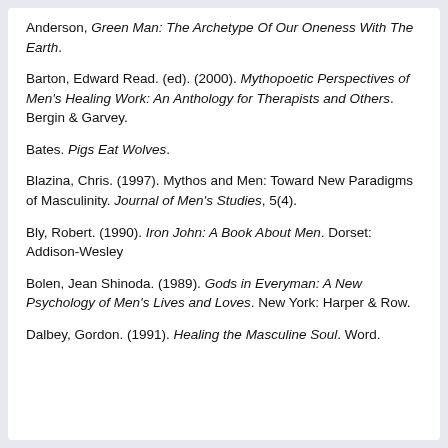Anderson, Green Man: The Archetype Of Our Oneness With The Earth.
Barton, Edward Read. (ed). (2000). Mythopoetic Perspectives of Men's Healing Work: An Anthology for Therapists and Others. Bergin & Garvey.
Bates. Pigs Eat Wolves.
Blazina, Chris. (1997). Mythos and Men: Toward New Paradigms of Masculinity. Journal of Men's Studies, 5(4).
Bly, Robert. (1990). Iron John: A Book About Men. Dorset: Addison-Wesley
Bolen, Jean Shinoda. (1989). Gods in Everyman: A New Psychology of Men's Lives and Loves. New York: Harper & Row.
Dalbey, Gordon. (1991). Healing the Masculine Soul. Word.